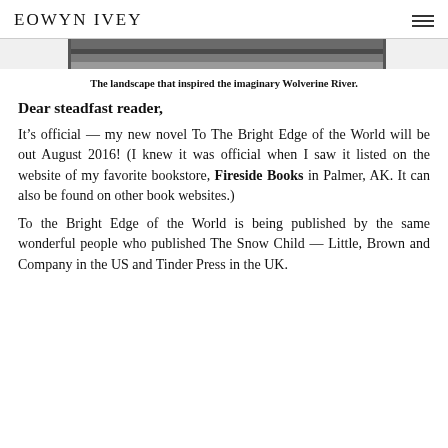EOWYN IVEY
[Figure (photo): A landscape photograph showing a wide river or waterway with dark terrain, the imaginary Wolverine River.]
The landscape that inspired the imaginary Wolverine River.
Dear steadfast reader,
It’s official — my new novel To The Bright Edge of the World will be out August 2016! (I knew it was official when I saw it listed on the website of my favorite bookstore, Fireside Books in Palmer, AK. It can also be found on other book websites.)
To the Bright Edge of the World is being published by the same wonderful people who published The Snow Child — Little, Brown and Company in the US and Tinder Press in the UK.